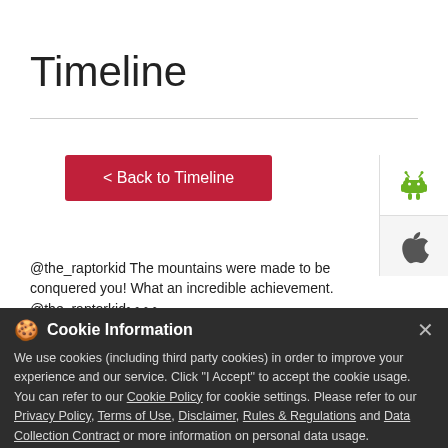Timeline
< Back to Timeline
[Figure (screenshot): Android robot icon (green) and Apple logo icon on a white/grey panel on the right side]
@the_raptorkid The mountains were made to be conquered you! What an incredible achievement. @the_raptorkid• • • • Rajapara🅱️...
#xpulse
#xpulsenders
Cookie Information
We use cookies (including third party cookies) in order to improve your experience and our service. Click "I Accept" to accept the cookie usage. You can refer to our Cookie Policy for cookie settings. Please refer to our Privacy Policy, Terms of Use, Disclaimer, Rules & Regulations and Data Collection Contract or more information on personal data usage.
I ACCEPT